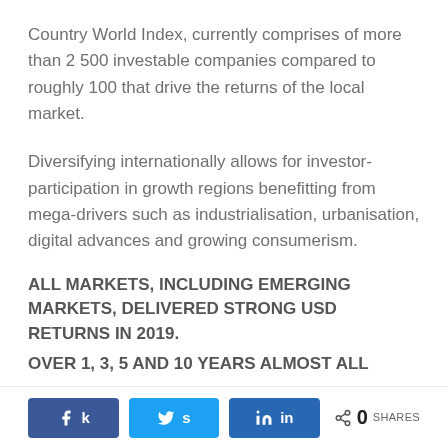Country World Index, currently comprises of more than 2 500 investable companies compared to roughly 100 that drive the returns of the local market.
Diversifying internationally allows for investor-participation in growth regions benefitting from mega-drivers such as industrialisation, urbanisation, digital advances and growing consumerism.
ALL MARKETS, INCLUDING EMERGING MARKETS, DELIVERED STRONG USD RETURNS IN 2019.
OVER 1, 3, 5 AND 10 YEARS ALMOST ALL